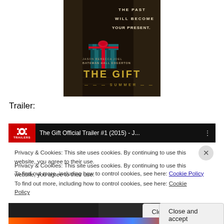[Figure (photo): Movie poster for 'The Gift' (2015) featuring a wrapped gift box on dark steps with text: 'THE PAST WILL BECOME YOUR PRESENT.' and cast names Jason Bateman, Rebecca Hall, Joel Edgerton. Text 'SUMMER' at bottom.]
Trailer:
[Figure (screenshot): YouTube video embed showing 'The Gift Official Trailer #1 (2015) - J...' with Movieclips Trailers logo on dark background, overlaid by a cookie consent dialog.]
Privacy & Cookies: This site uses cookies. By continuing to use this website, you agree to their use.
To find out more, including how to control cookies, see here: Cookie Policy
Close and accept